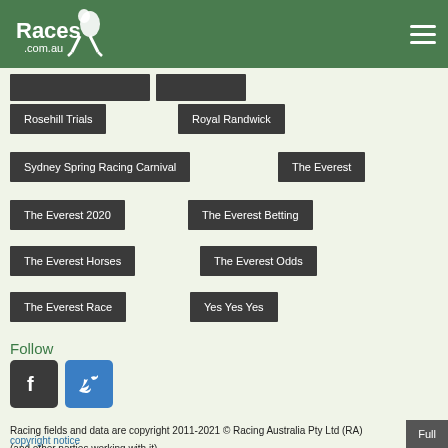[Figure (logo): Races.com.au logo with horse jockey silhouette on green header background]
Rosehill Trials
Royal Randwick
Sydney Spring Racing Carnival
The Everest
The Everest 2020
The Everest Betting
The Everest Horses
The Everest Odds
The Everest Race
Yes Yes Yes
Follow
[Figure (illustration): Facebook and Twitter social media icons]
Racing fields and data are copyright 2011-2021 © Racing Australia Pty Ltd (RA) (and other parties working with it). Racing materials, including fields, form and results, is subject to copyright which is owned by RA and other parties working with it.
copyright notice